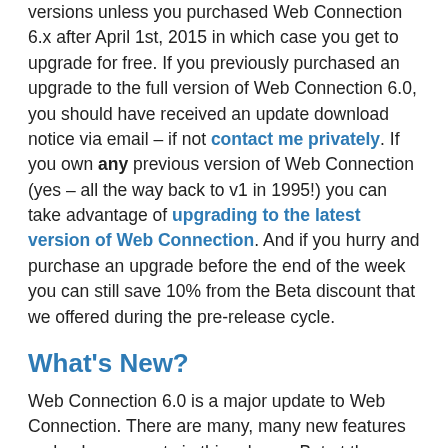versions unless you purchased Web Connection 6.x after April 1st, 2015 in which case you get to upgrade for free. If you previously purchased an upgrade to the full version of Web Connection 6.0, you should have received an update download notice via email – if not contact me privately. If you own any previous version of Web Connection (yes – all the way back to v1 in 1995!) you can take advantage of upgrading to the latest version of Web Connection. And if you hurry and purchase an upgrade before the end of the week you can still save 10% from the Beta discount that we offered during the pre-release cycle.
What's New?
Web Connection 6.0 is a major update to Web Connection. There are many, many new features and enhancements in this release. But at the same time, the new version has very little impact on backwards compatibility. There are very few, and very minor breaking changes between v5 and v6, so existing 5.x